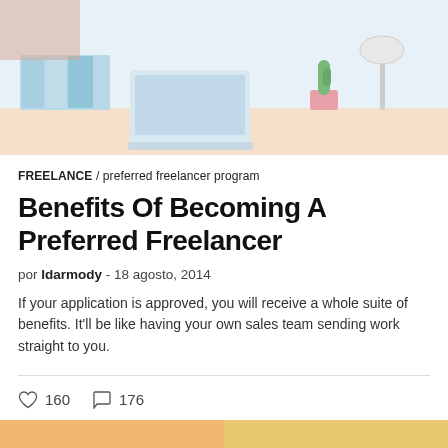[Figure (photo): Photo of a desk workspace with binders, a laptop, a cactus plant, and a lamp on a light-colored desk surface, cropped at the top of the page.]
FREELANCE / preferred freelancer program
Benefits Of Becoming A Preferred Freelancer
por ldarmody - 18 agosto, 2014
If your application is approved, you will receive a whole suite of benefits. It'll be like having your own sales team sending work straight to you.
♡ 160   ○ 176
[Figure (photo): Partial bottom strip showing the top edge of another article image, cropped at the bottom of the page.]